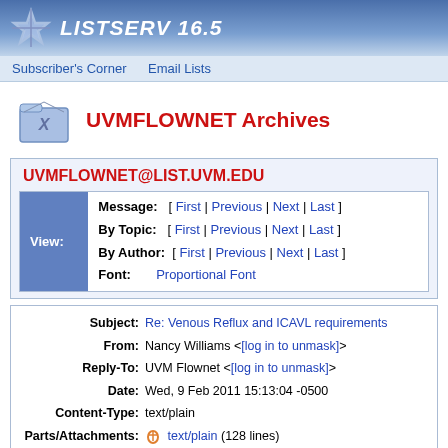LISTSERV 16.5
Subscriber's Corner   Email Lists
UVMFLOWNET Archives
UVMFLOWNET@LIST.UVM.EDU
|  |  |
| --- | --- |
| View: | Message: [ First | Previous | Next | Last ]
By Topic: [ First | Previous | Next | Last ]
By Author: [ First | Previous | Next | Last ]
Font: Proportional Font |
| Subject: | Re: Venous Reflux and ICAVL requirements |
| From: | Nancy Williams <[log in to unmask]> |
| Reply-To: | UVM Flownet <[log in to unmask]> |
| Date: | Wed, 9 Feb 2011 15:13:04 -0500 |
| Content-Type: | text/plain |
| Parts/Attachments: | text/plain (128 lines) |
:o Peace!
I have no desire to be email buddies with you